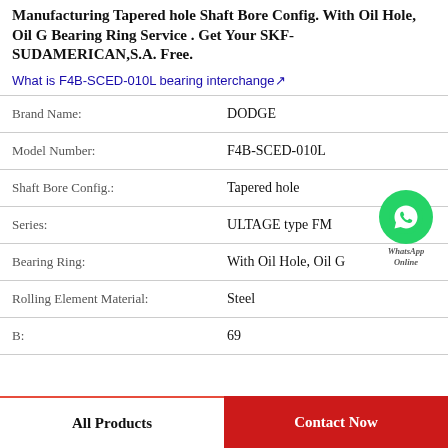Manufacturing Tapered hole Shaft Bore Config. With Oil Hole, Oil G Bearing Ring Service . Get Your SKF-SUDAMERICAN,S.A. Free.
What is F4B-SCED-010L bearing interchange↗
| Property | Value |
| --- | --- |
| Brand Name: | DODGE |
| Model Number: | F4B-SCED-010L |
| Shaft Bore Config.: | Tapered hole |
| Series: | ULTAGE type FM |
| Bearing Ring: | With Oil Hole, Oil G |
| Rolling Element Material: | Steel |
| B: | 69 |
[Figure (illustration): WhatsApp Online green phone button badge with 'WhatsApp Online' text]
All Products    Contact Now